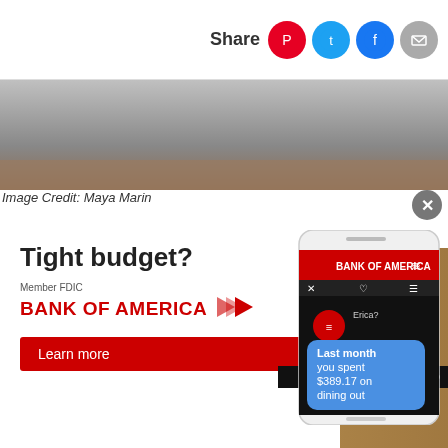Share [Pinterest] [Twitter] [Facebook] [Email]
[Figure (photo): Top portion of a photo showing a wooden surface, partially cropped]
Image Credit: Maya Marin
Once dried, remove your faux coral fr... -stick
Tight budget?
Member FDIC
BANK OF AMERICA
Learn more
[Figure (screenshot): Bank of America mobile app screenshot showing chatbot message: 'Last month you spent $389.17 on dining out']
+ KARGO AD
[Figure (photo): Hands holding faux coral made from red hot glue on bubble wrap against a white fabric, on a wooden table]